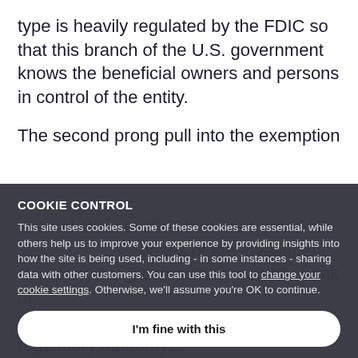type is heavily regulated by the FDIC so that this branch of the U.S. government knows the beneficial owners and persons in control of the entity.
The second prong pull into the exemption several other entities that are treated like [COOKIE CONTROL] poses of the Investment Company Act (such as any member bank of De-finition of several simplified regulatory authority).
COOKIE CONTROL

This site uses cookies. Some of these cookies are essential, while others help us to improve your experience by providing insights into how the site is being used, including - in some instances - sharing data with other customers. You can use this tool to change your cookie settings. Otherwise, we'll assume you're OK to continue.

I'm fine with this

More details
The first prong is clearly matched to the second.
Because banks are accustomed to maintain...